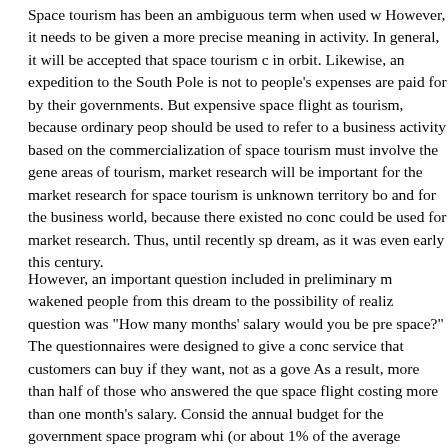Space tourism has been an ambiguous term when used w... However, it needs to be given a more precise meaning in ... activity. In general, it will be accepted that space tourism c... in orbit. Likewise, an expedition to the South Pole is not to... people's expenses are paid for by their governments. But ... expensive space flight as tourism, because ordinary peop... should be used to refer to a business activity based on the... commercialization of space tourism must involve the gene... areas of tourism, market research will be important for the... market research for space tourism is unknown territory bo... and for the business world, because there existed no conc... could be used for market research. Thus, until recently sp... dream, as it was even early this century.
However, an important question included in preliminary m... wakened people from this dream to the possibility of realiz... question was "How many months' salary would you be pre... space?" The questionnaires were designed to give a conc... service that customers can buy if they want, not as a gove... As a result, more than half of those who answered the que... space flight costing more than one month's salary. Consid... the annual budget for the government space program whi... (or about 1% of the average monthly salary), we conclude... successful in reminding people how much they really wish... own, that is, space activities that cannot be carried out usi...